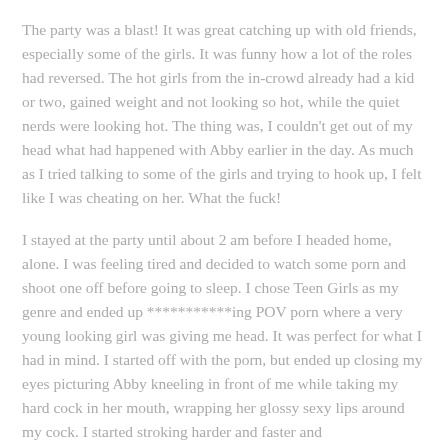The party was a blast! It was great catching up with old friends, especially some of the girls. It was funny how a lot of the roles had reversed. The hot girls from the in-crowd already had a kid or two, gained weight and not looking so hot, while the quiet nerds were looking hot. The thing was, I couldn't get out of my head what had happened with Abby earlier in the day. As much as I tried talking to some of the girls and trying to hook up, I felt like I was cheating on her. What the fuck!
I stayed at the party until about 2 am before I headed home, alone. I was feeling tired and decided to watch some porn and shoot one off before going to sleep. I chose Teen Girls as my genre and ended up ***********ing POV porn where a very young looking girl was giving me head. It was perfect for what I had in mind. I started off with the porn, but ended up closing my eyes picturing Abby kneeling in front of me while taking my hard cock in her mouth, wrapping her glossy sexy lips around my cock. I started stroking harder and faster and